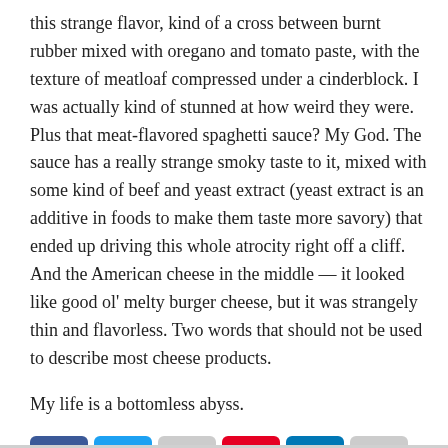this strange flavor, kind of a cross between burnt rubber mixed with oregano and tomato paste, with the texture of meatloaf compressed under a cinderblock. I was actually kind of stunned at how weird they were. Plus that meat-flavored spaghetti sauce? My God. The sauce has a really strange smoky taste to it, mixed with some kind of beef and yeast extract (yeast extract is an additive in foods to make them taste more savory) that ended up driving this whole atrocity right off a cliff. And the American cheese in the middle — it looked like good ol' melty burger cheese, but it was strangely thin and flavorless. Two words that should not be used to describe most cheese products.
My life is a bottomless abyss.
[Figure (other): Social sharing buttons: Facebook, Twitter, Reddit, Pinterest, LinkedIn, Email]